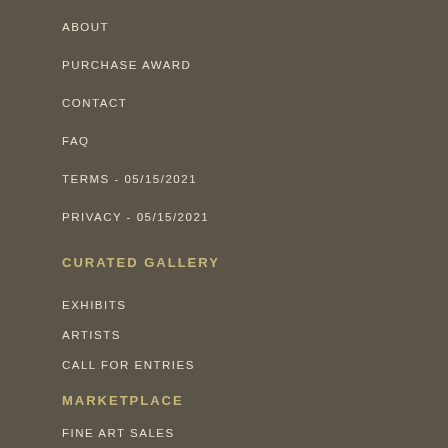ABOUT
PURCHASE AWARD
CONTACT
FAQ
TERMS - 05/15/2021
PRIVACY - 05/15/2021
CURATED GALLERY
EXHIBITS
ARTISTS
CALL FOR ENTRIES
MARKETPLACE
FINE ART SALES
BOOKS & CATALOGS